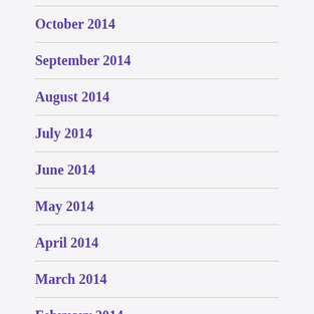October 2014
September 2014
August 2014
July 2014
June 2014
May 2014
April 2014
March 2014
February 2014